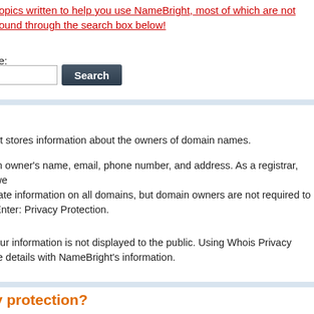topics written to help you use NameBright, most of which are not found through the search box below!
e:
[Figure (screenshot): Search input box and Search button]
at stores information about the owners of domain names.
in owner's name, email, phone number, and address. As a registrar, we rate information on all domains, but domain owners are not required to Enter: Privacy Protection.
our information is not displayed to the public. Using Whois Privacy te details with NameBright's information.
y protection?
information (name, email, phone number and more) is published in a .
n replaces your private details with NameBright's information